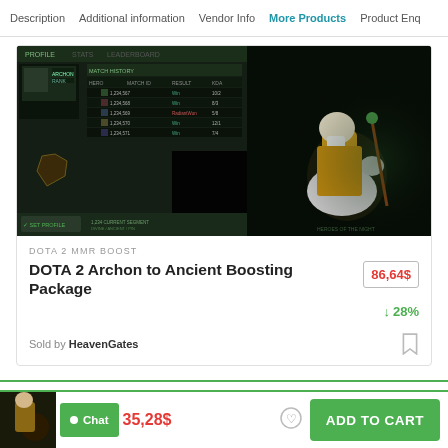Description | Additional information | Vendor Info | More Products | Product Enq
[Figure (screenshot): DOTA 2 game screenshot showing player profile stats and a wizard character on horseback]
DOTA 2 MMR BOOST
DOTA 2 Archon to Ancient Boosting Package
86,64$
↓ 28%
Sold by HeavenGates
35,28$
ADD TO CART